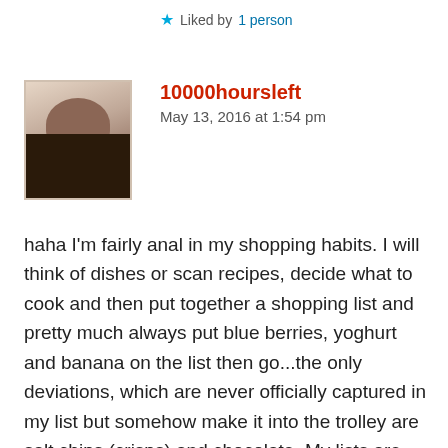★ Liked by 1 person
[Figure (photo): Avatar photo of commenter 10000hoursleft, showing a person with dark dreadlocks]
10000hoursleft
May 13, 2016 at 1:54 pm
haha I'm fairly anal in my shopping habits. I will think of dishes or scan recipes, decide what to cook and then put together a shopping list and pretty much always put blue berries, yoghurt and banana on the list then go...the only deviations, which are never officially captured in my list but somehow make it into the trolley are salt chips (crisps) and chocolate. My lists are normally on memo in my phone and I do sometimes look and amuse myself trying to remember what I